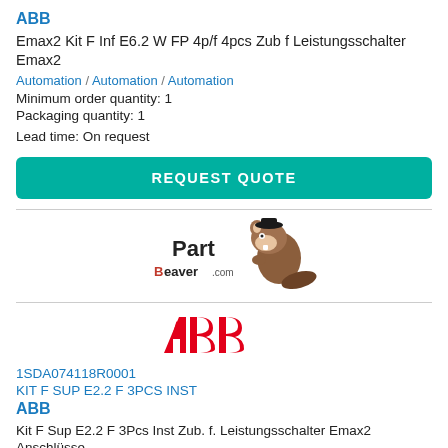ABB
Emax2 Kit F Inf E6.2 W FP 4p/f 4pcs Zub f Leistungsschalter Emax2
Automation / Automation / Automation
Minimum order quantity: 1
Packaging quantity: 1
Lead time: On request
REQUEST QUOTE
[Figure (logo): PartBeaver.com logo with beaver mascot]
[Figure (logo): ABB red logo]
1SDA074118R0001
KIT F SUP E2.2 F 3PCS INST
ABB
Kit F Sup E2.2 F 3Pcs Inst Zub. f. Leistungsschalter Emax2 Anschlüsse
Automation / Automation / Automation
Minimum order quantity: 1